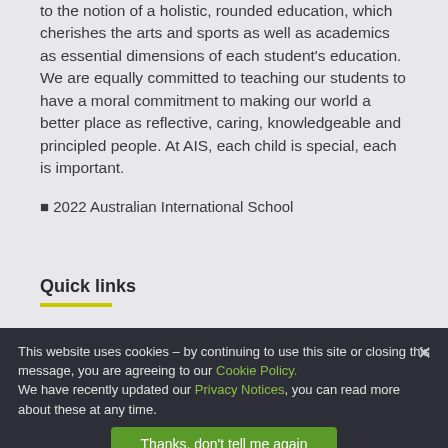to the notion of a holistic, rounded education, which cherishes the arts and sports as well as academics as essential dimensions of each student's education. We are equally committed to teaching our students to have a moral commitment to making our world a better place as reflective, caring, knowledgeable and principled people. At AIS, each child is special, each is important.
© 2022 Australian International School
Quick links
This website uses cookies – by continuing to use this site or closing this message, you are agreeing to our Cookie Policy. We have recently updated our Privacy Notices, you can read more about these at any time.